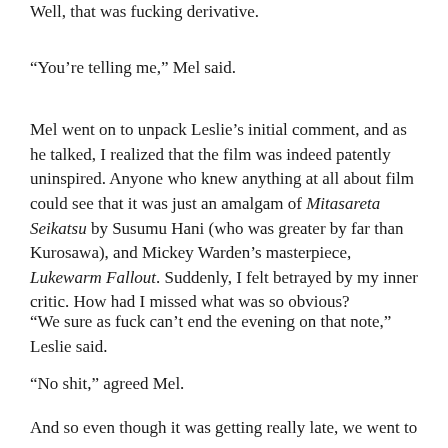Well, that was fucking derivative.
“You’re telling me,” Mel said.
Mel went on to unpack Leslie’s initial comment, and as he talked, I realized that the film was indeed patently uninspired. Anyone who knew anything at all about film could see that it was just an amalgam of Mitasareta Seikatsu by Susumu Hani (who was greater by far than Kurosawa), and Mickey Warden’s masterpiece, Lukewarm Fallout. Suddenly, I felt betrayed by my inner critic. How had I missed what was so obvious?
“We sure as fuck can’t end the evening on that note,” Leslie said.
“No shit,” agreed Mel.
And so even though it was getting really late, we went to an